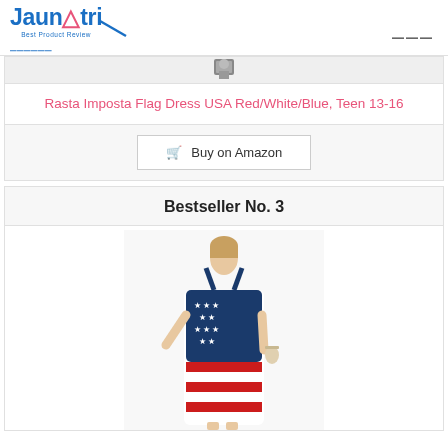Jaunatri Best Product Review
[Figure (photo): Partial product image at top of card, small cropped photo]
Rasta Imposta Flag Dress USA Red/White/Blue, Teen 13-16
Buy on Amazon
Bestseller No. 3
[Figure (photo): Woman wearing an American flag pattern halter maxi dress, red white and blue colors with stars and stripes]